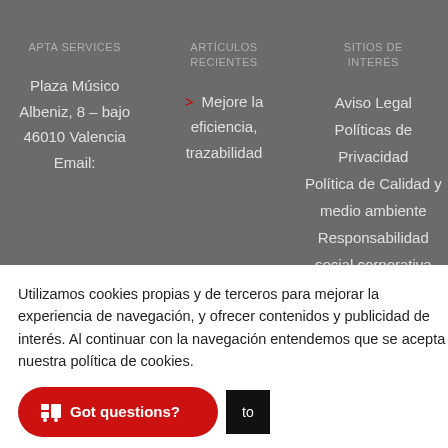APTA SERVICES
ARTÍCULOS RECIENTES
SITIOS DE INTERÉS
Plaza Músico Albeniz, 8 – bajo 46010 Valencia Email:
> Mejore la eficiencia, trazabilidad
Aviso Legal
Políticas de Privacidad
Política de Calidad y medio ambiente
Responsabilidad social corporativa
Código Ético
Certificación
ALL WORLD:
Utilizamos cookies propias y de terceros para mejorar la experiencia de navegación, y ofrecer contenidos y publicidad de interés. Al continuar con la navegación entendemos que se acepta nuestra política de cookies.
Got questions?